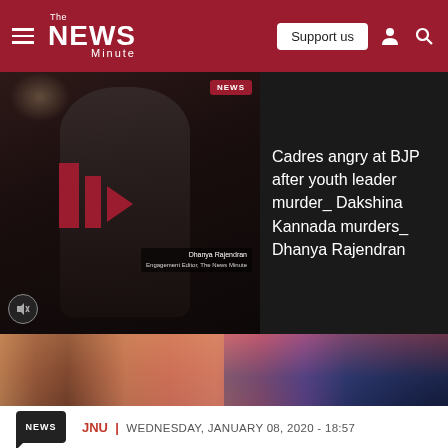[Figure (screenshot): The News Minute website navigation bar with hamburger menu, logo, Support us button, user icon, and search icon on dark red background]
[Figure (screenshot): Video thumbnail showing a woman in dark setting with The News Minute red play logo overlay, NEWS pill badge, Dhanya Rajendran label, and mute icon]
Cadres angry at BJP after youth leader murder_ Dakshina Kannada murders_ Dhanya Rajendran
[Figure (photo): Photo of people in traditional Indian clothing in warm reddish-pink tones]
NEWS  JNU |  WEDNESDAY, JANUARY 08, 2020 - 18:57